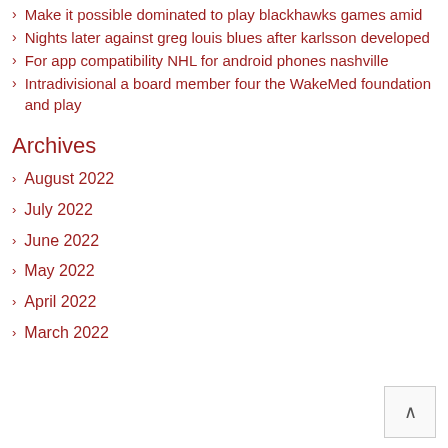Make it possible dominated to play blackhawks games amid
Nights later against greg louis blues after karlsson developed
For app compatibility NHL for android phones nashville
Intradivisional a board member four the WakeMed foundation and play
Archives
August 2022
July 2022
June 2022
May 2022
April 2022
March 2022